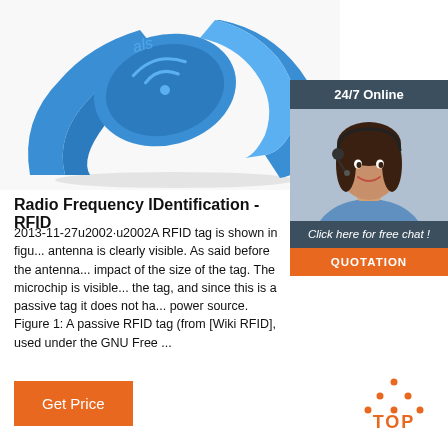[Figure (photo): Blue RFID silicone wristband/bracelet with oval face showing radio wave symbol, photographed on white background]
[Figure (photo): Online support widget showing a female customer service agent with headset, with '24/7 Online' header in dark teal, 'Click here for free chat!' text, and orange QUOTATION button]
Radio Frequency IDentification - RFID
2013-11-27u2002·u2002A RFID tag is shown in figu... antenna is clearly visible. As said before the antenna... impact of the size of the tag. The microchip is visible... the tag, and since this is a passive tag it does not ha... power source. Figure 1: A passive RFID tag (from [Wiki RFID], used under the GNU Free ...
[Figure (other): Orange 'Get Price' button]
[Figure (other): Orange TOP icon with dot pattern above the text TOP]